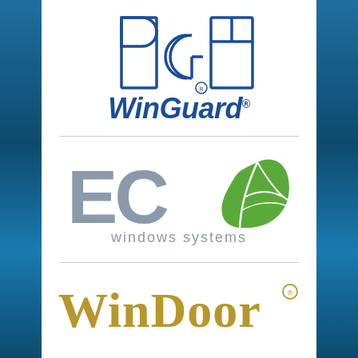[Figure (logo): PGT WinGuard logo — outline block letters P, G, T with circular element, below italic bold blue WinGuard® text]
[Figure (logo): ECO windows systems logo — large gray ECO letters with green leaf replacing the O, and 'windows systems' subtitle in gray]
[Figure (logo): WinDoor® logo — large serif gold/tan lettering with decorative W and D]